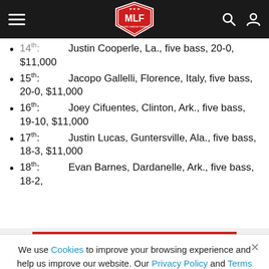MLF Major League Fishing navigation bar
14th: Justin Cooper, La., five bass, 20-0, $11,000
15th: Jacopo Gallelli, Florence, Italy, five bass, 20-0, $11,000
16th: Joey Cifuentes, Clinton, Ark., five bass, 19-10, $11,000
17th: Justin Lucas, Guntersville, Ala., five bass, 18-3, $11,000
18th: Evan Barnes, Dardanelle, Ark., five bass, 18-2,
We use Cookies to improve your browsing experience and help us improve our website. Our Privacy Policy and Terms of Service have changed. Click OK to agree.
[Figure (logo): MLF BET advertisement banner with Major League Fishing logo and Bet logo]